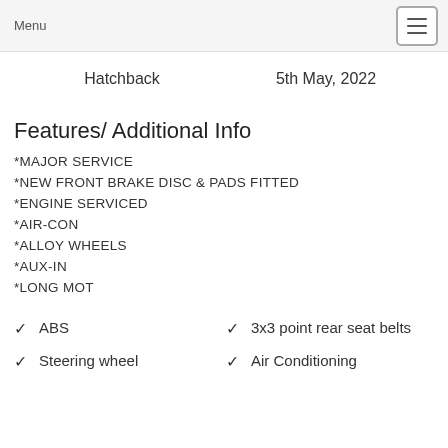Menu
Hatchback    5th May, 2022
Features/ Additional Info
*MAJOR SERVICE
*NEW FRONT BRAKE DISC & PADS FITTED
*ENGINE SERVICED
*AIR-CON
*ALLOY WHEELS
*AUX-IN
*LONG MOT
✓ ABS
✓ 3x3 point rear seat belts
✓ Steering wheel
✓ Air Conditioning